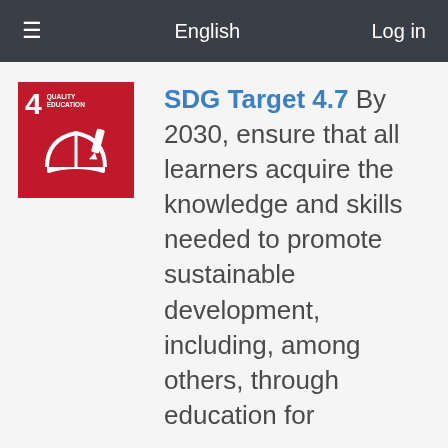English   Log in
[Figure (logo): SDG Goal 4 Quality Education red icon with open book and pencil symbol]
SDG Target 4.7  By 2030, ensure that all learners acquire the knowledge and skills needed to promote sustainable development, including, among others, through education for sustainable development and sustainable lifestyles, human rights, gender equality, promotion of a culture of peace and non-violence, global citizenship and appreciation of cultural